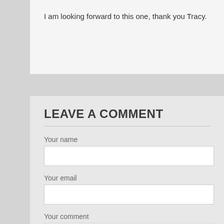I am looking forward to this one, thank you Tracy.
LEAVE A COMMENT
Your name
Your email
Your comment
Comments have to be approved before showing up